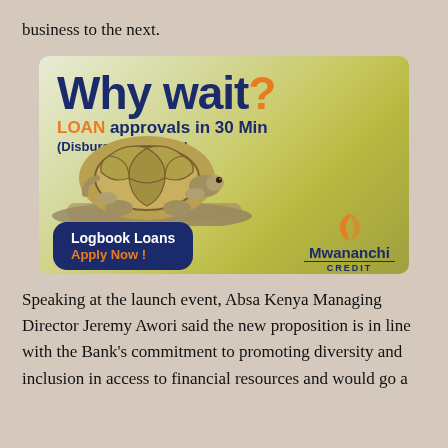business to the next.
[Figure (infographic): Mwananchi Credit loan advertisement featuring a tortoise, with headline 'Why wait? LOAN approvals in 30 Min (Disbursed in 6 Hrs !)', a 'Logbook Loans Apply Now!' button, and the Mwananchi Credit logo with tagline 'Investor in People'.]
Speaking at the launch event, Absa Kenya Managing Director Jeremy Awori said the new proposition is in line with the Bank's commitment to promoting diversity and inclusion in access to financial resources and would go a